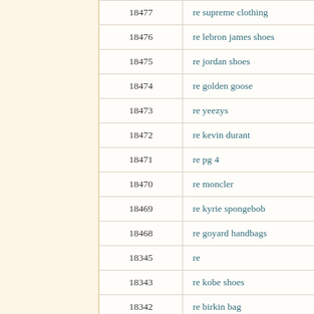| ID | Query |
| --- | --- |
| 18477 | re supreme clothing |
| 18476 | re lebron james shoes |
| 18475 | re jordan shoes |
| 18474 | re golden goose |
| 18473 | re yeezys |
| 18472 | re kevin durant |
| 18471 | re pg 4 |
| 18470 | re moncler |
| 18469 | re kyrie spongebob |
| 18468 | re goyard handbags |
| 18345 | re |
| 18343 | re kobe shoes |
| 18342 | re birkin bag |
| 18341 | re kyrie 5 |